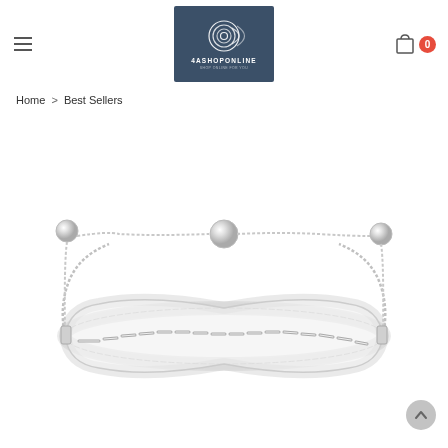4ASHOPONLINE — website header with logo, hamburger menu, and cart icon showing 0 items
Home > Best Sellers
[Figure (photo): A silver adjustable bolo tennis bracelet set with round and square cubic zirconia stones, shown on a white background. The bracelet features a sliding ball closure mechanism on a rolo chain.]